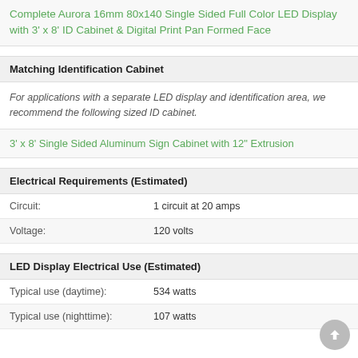Complete Aurora 16mm 80x140 Single Sided Full Color LED Display with 3' x 8' ID Cabinet & Digital Print Pan Formed Face
Matching Identification Cabinet
For applications with a separate LED display and identification area, we recommend the following sized ID cabinet.
3' x 8' Single Sided Aluminum Sign Cabinet with 12" Extrusion
Electrical Requirements (Estimated)
|  |  |
| --- | --- |
| Circuit: | 1 circuit at 20 amps |
| Voltage: | 120 volts |
LED Display Electrical Use (Estimated)
|  |  |
| --- | --- |
| Typical use (daytime): | 534 watts |
| Typical use (nighttime): | 107 watts |